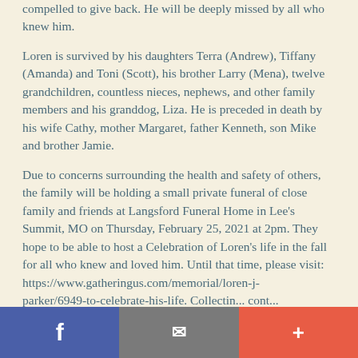compelled to give back. He will be deeply missed by all who knew him.
Loren is survived by his daughters Terra (Andrew), Tiffany (Amanda) and Toni (Scott), his brother Larry (Mena), twelve grandchildren, countless nieces, nephews, and other family members and his granddog, Liza. He is preceded in death by his wife Cathy, mother Margaret, father Kenneth, son Mike and brother Jamie.
Due to concerns surrounding the health and safety of others, the family will be holding a small private funeral of close family and friends at Langsford Funeral Home in Lee's Summit, MO on Thursday, February 25, 2021 at 2pm. They hope to be able to host a Celebration of Loren's life in the fall for all who knew and loved him. Until that time, please visit: https://www.gatheringus.com/memorial/loren-j-
Facebook | Email | More